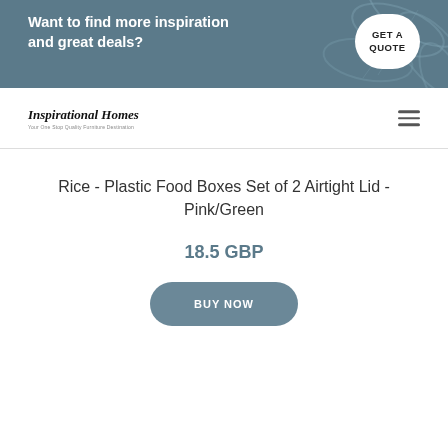Want to find more inspiration and great deals? GET A QUOTE
[Figure (logo): Inspirational Homes logo with italic serif text and tagline]
Rice - Plastic Food Boxes Set of 2 Airtight Lid - Pink/Green
18.5 GBP
BUY NOW